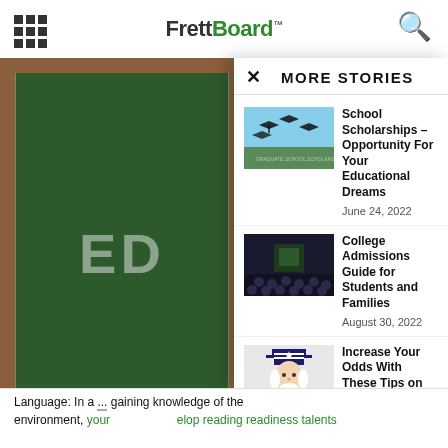FrettBoard™
[Figure (illustration): Green chalkboard with wooden frame showing chalk text 'ED']
MORE STORIES
[Figure (photo): Graduation caps being tossed in the air against blue sky, scholarship event]
School Scholarships – Opportunity For Your Educational Dreams
June 24, 2022
[Figure (photo): Dark auditorium with crowd of graduates]
College Admissions Guide for Students and Families
August 30, 2022
[Figure (illustration): Uncle Sam pointing finger illustration]
Increase Your Odds With These Tips on the Forex market plans...
January 9, 2022
Language: In a ... gaining knowledge of the environment, your ... elop reading readiness talents